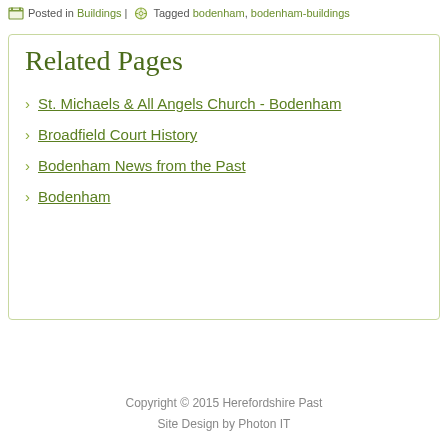Posted in Buildings | Tagged bodenham, bodenham-buildings
Related Pages
St. Michaels & All Angels Church - Bodenham
Broadfield Court History
Bodenham News from the Past
Bodenham
Copyright © 2015 Herefordshire Past
Site Design by Photon IT